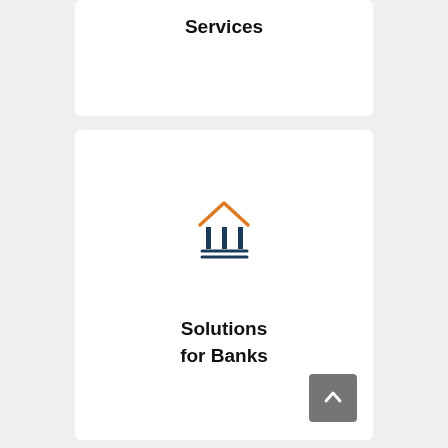Services
[Figure (illustration): Bank/institution icon with orange roof and dark blue columns on a white card background]
Solutions
for Banks